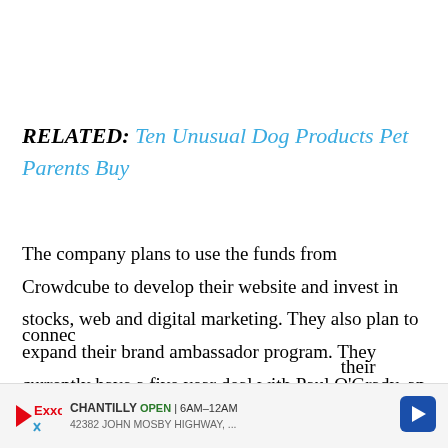RELATED: Ten Unusual Dog Products Pet Parents Buy
The company plans to use the funds from Crowdcube to develop their website and invest in stocks, web and digital marketing. They also plan to expand their brand ambassador program. They currently have a five year deal with Paul O'Grady, an English comedian and actor, to endorse their products. They would like to make more connections... their
[Figure (infographic): Exxon advertisement banner showing Chantilly location open 6AM-12AM at 42382 John Mosby Highway, with navigation arrow icon]